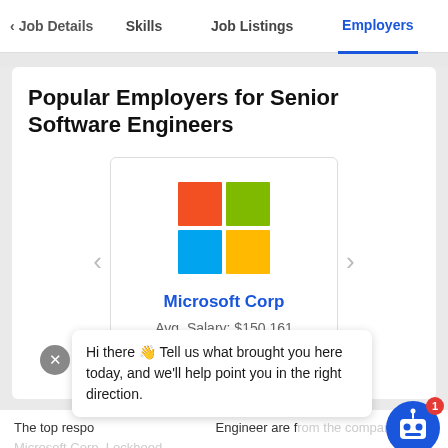< Job Details   Skills   Job Listings   Employers
Popular Employers for Senior Software Engineers
[Figure (logo): Microsoft four-color logo (red, green, blue, yellow squares) with company name 'Microsoft Corp' and text 'Avg. Salary: $150,161' inside an employer card with navigation arrows on each side]
Hi there 👋 Tell us what brought you here today, and we'll help point you in the right direction.
The top respo... Engineer are f... the companies Microsoft Corp, Lockheed